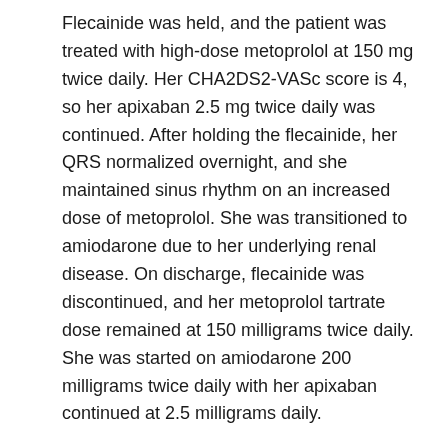Flecainide was held, and the patient was treated with high-dose metoprolol at 150 mg twice daily. Her CHA2DS2-VASc score is 4, so her apixaban 2.5 mg twice daily was continued. After holding the flecainide, her QRS normalized overnight, and she maintained sinus rhythm on an increased dose of metoprolol. She was transitioned to amiodarone due to her underlying renal disease. On discharge, flecainide was discontinued, and her metoprolol tartrate dose remained at 150 milligrams twice daily. She was started on amiodarone 200 milligrams twice daily with her apixaban continued at 2.5 milligrams daily.
Discussion: Flecainide is a Class Ic antiarrhythmic agent that acts on sodium channels and is used to treat patients with supraventricular and ventricular